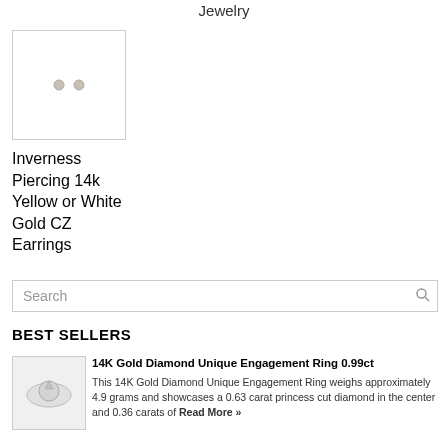Jewelry
[Figure (photo): Product image placeholder showing two small round earring studs on white background]
Inverness Piercing 14k Yellow or White Gold CZ Earrings
Search
BEST SELLERS
[Figure (photo): Thumbnail photo of a 14K gold diamond engagement ring with princess cut diamond in center]
14K Gold Diamond Unique Engagement Ring 0.99ct
This 14K Gold Diamond Unique Engagement Ring weighs approximately 4.9 grams and showcases a 0.63 carat princess cut diamond in the center and 0.36 carats of Read More »